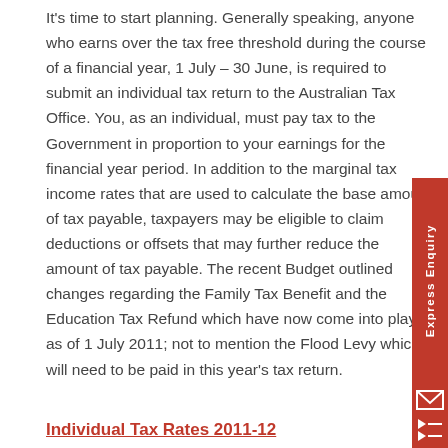It's time to start planning. Generally speaking, anyone who earns over the tax free threshold during the course of a financial year, 1 July – 30 June, is required to submit an individual tax return to the Australian Tax Office. You, as an individual, must pay tax to the Government in proportion to your earnings for the financial year period. In addition to the marginal tax income rates that are used to calculate the base amount of tax payable, taxpayers may be eligible to claim deductions or offsets that may further reduce the amount of tax payable. The recent Budget outlined changes regarding the Family Tax Benefit and the Education Tax Refund which have now come into play as of 1 July 2011; not to mention the Flood Levy which will need to be paid in this year's tax return.
Individual Tax Rates 2011-12